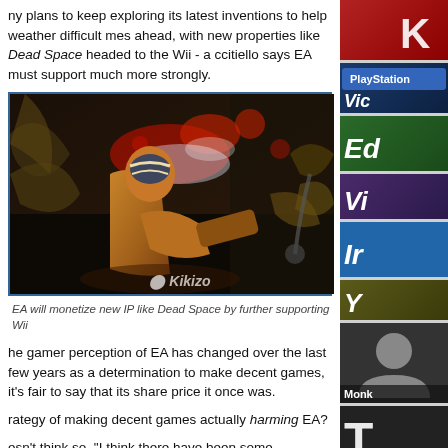ny plans to keep exploring its latest inventions to help weather difficult mes ahead, with new properties like Dead Space headed to the Wii - a ccitiello says EA must support much more strongly.
[Figure (photo): Dead Space video game screenshot showing armored character fighting alien creature, with Kikizo watermark]
EA will monetize new IP like Dead Space by further supporting Wii
he gamer perception of EA has changed over the last few years as a determination to make decent games, it's fair to say that its share price it once was.
rategy of making decent games actually harming EA?
esn't think so. "I think there have been some challenging circumstances